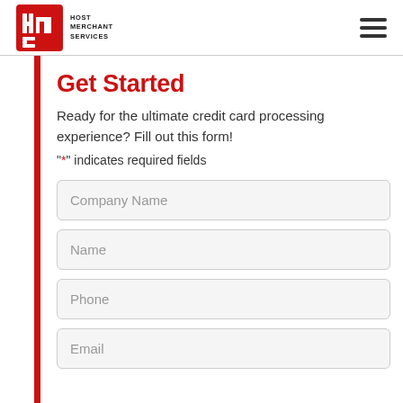[Figure (logo): Host Merchant Services logo — red square with white stylized 'hms' letters, followed by text 'HOST MERCHANT SERVICES']
Get Started
Ready for the ultimate credit card processing experience? Fill out this form!
"*" indicates required fields
Company Name
Name
Phone
Email